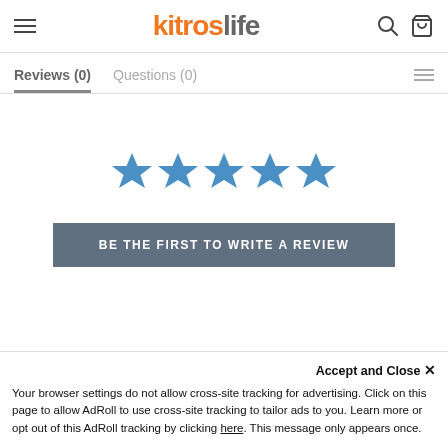kitroslife
Reviews (0)   Questions (0)
[Figure (illustration): Five blue star rating icons in a row]
BE THE FIRST TO WRITE A REVIEW
Accept and Close ×
Your browser settings do not allow cross-site tracking for advertising. Click on this page to allow AdRoll to use cross-site tracking to tailor ads to you. Learn more or opt out of this AdRoll tracking by clicking here. This message only appears once.